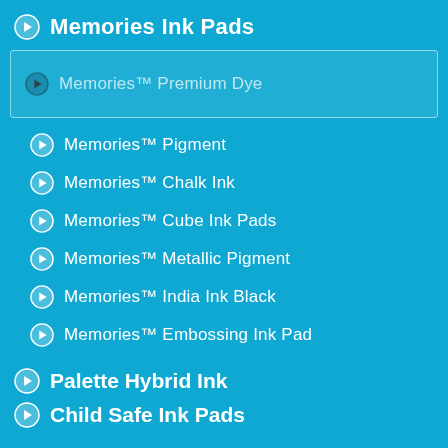Memories Ink Pads
Memories™ Premium Dye
Memories™ Pigment
Memories™ Chalk Ink
Memories™ Cube Ink Pads
Memories™ Metallic Pigment
Memories™ India Ink Black
Memories™ Embossing Ink Pad
Palette Hybrid Ink
Child Safe Ink Pads